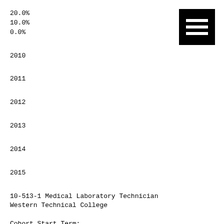20.0%
10.0%
0.0%
[Figure (other): Black square icon with three white horizontal bars (hamburger/menu icon)]
2010
2011
2012
2013
2014
2015
10-513-1 Medical Laboratory Technician
Western Technical College
Cohort Start Term:
Report Year:
Fall 2008
2010
Fall 2009
2011
Sum of % Meeting Definition